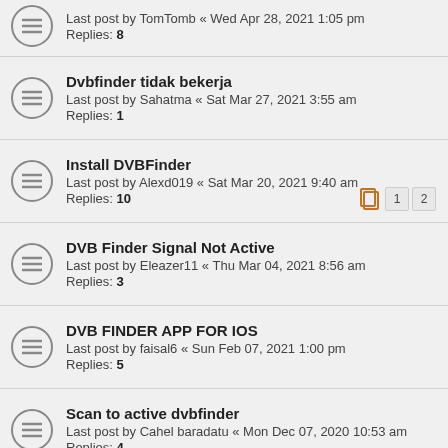Last post by TomTomb « Wed Apr 28, 2021 1:05 pm
Replies: 8
Dvbfinder tidak bekerja
Last post by Sahatma « Sat Mar 27, 2021 3:55 am
Replies: 1
Install DVBFinder
Last post by Alexd019 « Sat Mar 20, 2021 9:40 am
Replies: 10 [pages: 1, 2]
DVB Finder Signal Not Active
Last post by Eleazer11 « Thu Mar 04, 2021 8:56 am
Replies: 3
DVB FINDER APP FOR IOS
Last post by faisal6 « Sun Feb 07, 2021 1:00 pm
Replies: 5
Scan to active dvbfinder
Last post by Cahel baradatu « Mon Dec 07, 2020 10:53 am
Replies: 4
Device disconnects
Last post by Kaleem Khan « Thu Nov 19, 2020 6:49 am
Replies: 6
NEW TOPIC | Sort